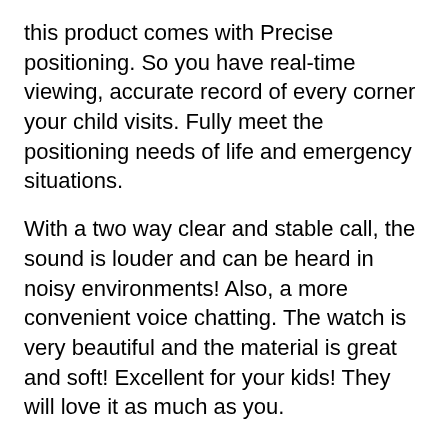this product comes with Precise positioning. So you have real-time viewing, accurate record of every corner your child visits. Fully meet the positioning needs of life and emergency situations.
With a two way clear and stable call, the sound is louder and can be heard in noisy environments! Also, a more convenient voice chatting. The watch is very beautiful and the material is great and soft! Excellent for your kids! They will love it as much as you.
Unique product
This Smartwatch for kids is a unique product. There is no other product like this in the market, competitors products tend to have less battery power and don't resist smashes, scratches, and water like this original product does! Besides that! Now thanks to this product's special sales price, you can have the best smartwatch for kids at a price never seen before!